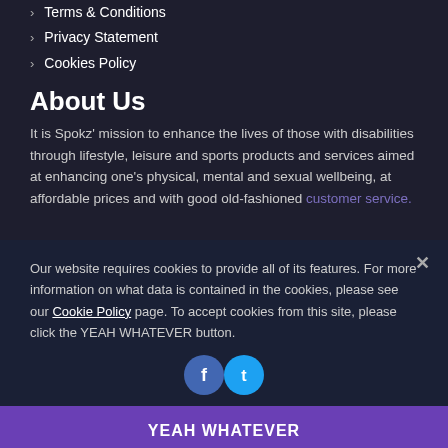Terms & Conditions
Privacy Statement
Cookies Policy
About Us
It is Spokz' mission to enhance the lives of those with disabilities through lifestyle, leisure and sports products and services aimed at enhancing one’s physical, mental and sexual wellbeing, at affordable prices and with good old-fashioned customer service.
Our website requires cookies to provide all of its features. For more information on what data is contained in the cookies, please see our Cookie Policy page. To accept cookies from this site, please click the YEAH WHATEVER button.
YEAH WHATEVER
© Spokz 2020 all rights reserved
No, stop it!